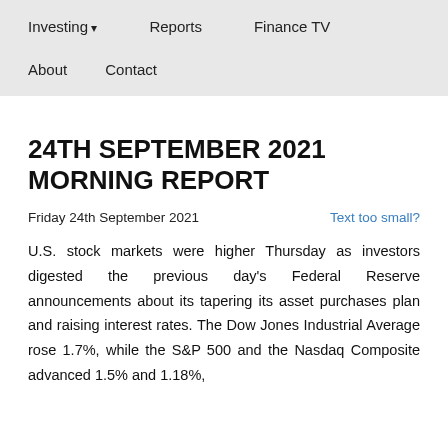Investing ▾    Reports    Finance TV    About    Contact
24TH SEPTEMBER 2021 MORNING REPORT
Friday 24th September 2021
Text too small?
U.S. stock markets were higher Thursday as investors digested the previous day's Federal Reserve announcements about its tapering its asset purchases plan and raising interest rates. The Dow Jones Industrial Average rose 1.7%, while the S&P 500 and the Nasdaq Composite advanced 1.5% and 1.18%,